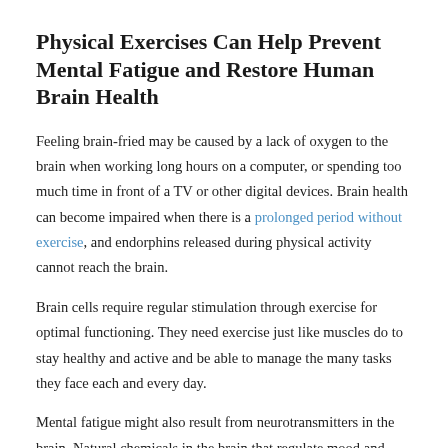Physical Exercises Can Help Prevent Mental Fatigue and Restore Human Brain Health
Feeling brain-fried may be caused by a lack of oxygen to the brain when working long hours on a computer, or spending too much time in front of a TV or other digital devices. Brain health can become impaired when there is a prolonged period without exercise, and endorphins released during physical activity cannot reach the brain.
Brain cells require regular stimulation through exercise for optimal functioning. They need exercise just like muscles do to stay healthy and active and be able to manage the many tasks they face each and every day.
Mental fatigue might also result from neurotransmitters in the brain. Natural chemicals in the brain that regulate mood and stimulate